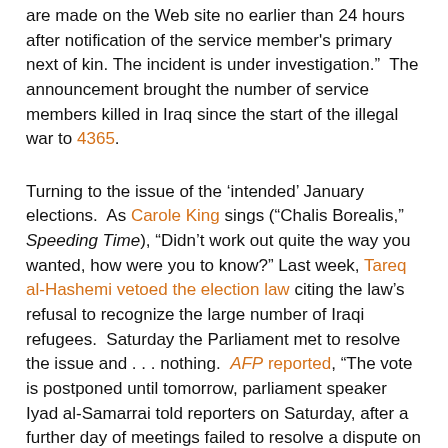are made on the Web site no earlier than 24 hours after notification of the service member's primary next of kin. The incident is under investigation."  The announcement brought the number of service members killed in Iraq since the start of the illegal war to 4365.
Turning to the issue of the 'intended' January elections.  As Carole King sings ("Chalis Borealis," Speeding Time), "Didn't work out quite the way you wanted, how were you to know?"  Last week, Tareq al-Hashemi vetoed the election law citing the law's refusal to recognize the large number of Iraqi refugees.  Saturday the Parliament met to resolve the issue and . . . nothing.   AFP reported, "The vote is postponed until tomorrow, parliament speaker Iyad al-Samarrai told reporters on Saturday, after a further day of meetings failed to resolve a dispute on a key provision in the law which will govern the national poll." Waleed Ibrahim, Ahmed Rasheed, Khalid al-Ansary, Michael Christie and Sonya Hepinstall (Reuters) explained, "Parliament must now either address Hashemi's complaints and amend the law, which may invite other interest groups to demand other changes, or send it back to